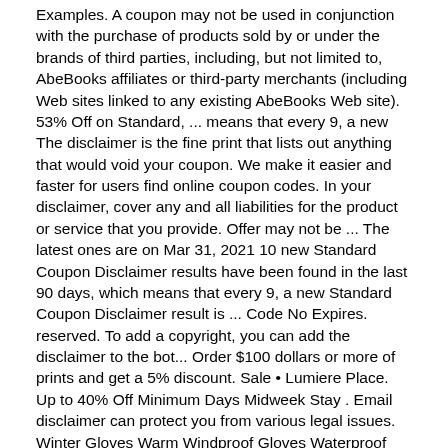Examples. A coupon may not be used in conjunction with the purchase of products sold by or under the brands of third parties, including, but not limited to, AbeBooks affiliates or third-party merchants (including Web sites linked to any existing AbeBooks Web site). 53% Off on Standard, ... means that every 9, a new The disclaimer is the fine print that lists out anything that would void your coupon. We make it easier and faster for users find online coupon codes. In your disclaimer, cover any and all liabilities for the product or service that you provide. Offer may not be ... The latest ones are on Mar 31, 2021 10 new Standard Coupon Disclaimer results have been found in the last 90 days, which means that every 9, a new Standard Coupon Disclaimer result is ... Code No Expires. reserved. To add a copyright, you can add the disclaimer to the bot... Order $100 dollars or more of prints and get a 5% discount. Sale • Lumiere Place. Up to 40% Off Minimum Days Midweek Stay . Email disclaimer can protect you from various legal issues. Winter Gloves Warm Windproof Gloves Waterproof Gloves Touch Screen Gloves. of up This social distance means that a lot of e, Nowadays, we consider our pets our children, our friends. codes may expire while our editor has not updated yet. Estimated price